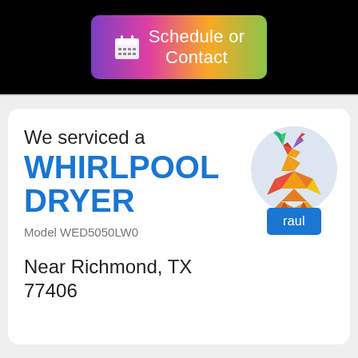[Figure (screenshot): Schedule or Contact button with calendar icon, gradient background from purple to green]
We serviced a
WHIRLPOOL DRYER
Model WED5050LW0
[Figure (illustration): Colorful geometric low-poly deer/stag logo in a light blue circle, with a blue badge labeled 'raul' below]
Near Richmond, TX 77406